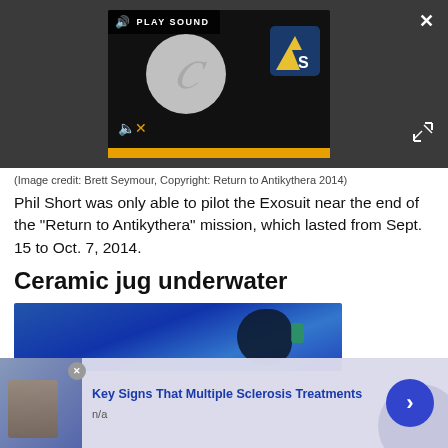[Figure (screenshot): Audio/video player UI with dark background, play sound button, circular logo with C letter, LS logo badge, mute icon, and yellow progress bar.]
(Image credit: Brett Seymour, Copyright: Return to Antikythera 2014)
Phil Short was only able to pilot the Exosuit near the end of the "Return to Antikythera" mission, which lasted from Sept. 15 to Oct. 7, 2014.
Ceramic jug underwater
[Figure (photo): Underwater photo showing a diver in dark water with blue tones.]
[Figure (screenshot): Advertisement banner: Key Signs That Multiple Sclerosis Treatments, n/a, with arrow button.]